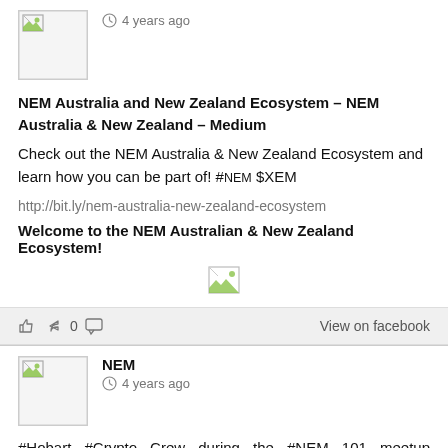[Figure (other): Broken image avatar placeholder with green corner icon, 4 years ago timestamp]
4 years ago
NEM Australia and New Zealand Ecosystem – NEM Australia & New Zealand – Medium
Check out the NEM Australia & New Zealand Ecosystem and learn how you can be part of! #NEM $XEM
http://bit.ly/nem-australia-new-zealand-ecosystem
Welcome to the NEM Australian & New Zealand Ecosystem!
[Figure (other): Broken image placeholder small with green icon]
0  View on facebook
[Figure (other): NEM avatar broken image with green corner]
NEM
4 years ago
#Hobart #Crypto Crew during the #NEM 101 meetup organised by Nugget's News! #CryptoEvents #CryptoTasmania